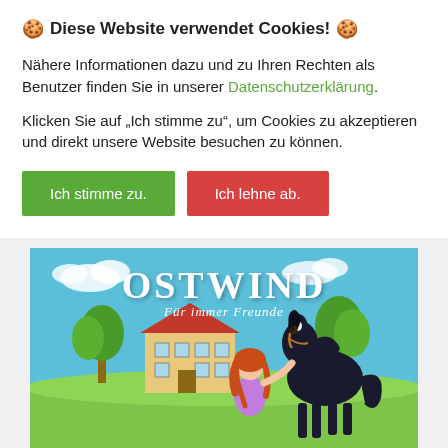🍪 Diese Website verwendet Cookies! 🍪
Nähere Informationen dazu und zu Ihren Rechten als Benutzer finden Sie in unserer Datenschutzerklärung.
Klicken Sie auf „Ich stimme zu", um Cookies zu akzeptieren und direkt unsere Website besuchen zu können.
Ich stimme zu.
Ich lehne ab.
[Figure (illustration): Book cover for 'Ostwind – Für immer Freunde' showing a dark horse and a red-haired girl in front of a farmhouse with trees and blue sky]